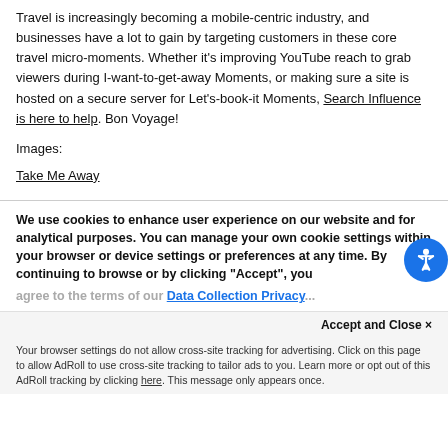Travel is increasingly becoming a mobile-centric industry, and businesses have a lot to gain by targeting customers in these core travel micro-moments. Whether it's improving YouTube reach to grab viewers during I-want-to-get-away Moments, or making sure a site is hosted on a secure server for Let's-book-it Moments, Search Influence is here to help. Bon Voyage!
Images:
Take Me Away
We use cookies to enhance user experience on our website and for analytical purposes. You can manage your own cookie settings within your browser or device settings or preferences at any time. By continuing to browse or by clicking "Accept", you agree to the terms of our Data Collection Privacy...
Accept and Close ✕
Your browser settings do not allow cross-site tracking for advertising. Click on this page to allow AdRoll to use cross-site tracking to tailor ads to you. Learn more or opt out of this AdRoll tracking by clicking here. This message only appears once.